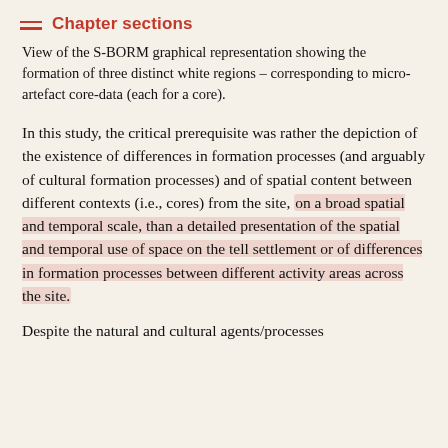Chapter sections
View of the S-BORM graphical representation showing the formation of three distinct white regions – corresponding to micro-artefact core-data (each for a core).
In this study, the critical prerequisite was rather the depiction of the existence of differences in formation processes (and arguably of cultural formation processes) and of spatial content between different contexts (i.e., cores) from the site, on a broad spatial and temporal scale, than a detailed presentation of the spatial and temporal use of space on the tell settlement or of differences in formation processes between different activity areas across the site.
Despite the natural and cultural agents/processes